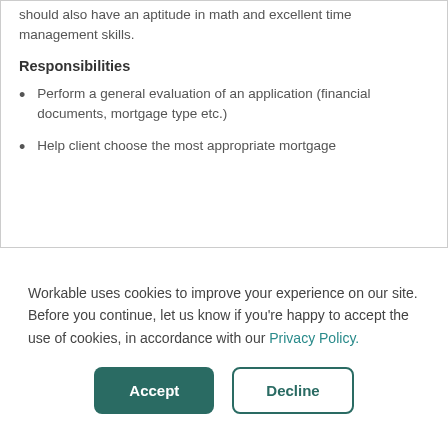should also have an aptitude in math and excellent time management skills.
Responsibilities
Perform a general evaluation of an application (financial documents, mortgage type etc.)
Help client choose the most appropriate mortgage
Workable uses cookies to improve your experience on our site. Before you continue, let us know if you're happy to accept the use of cookies, in accordance with our Privacy Policy.
Accept | Decline